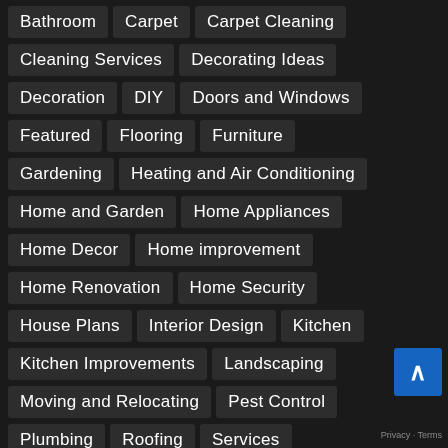Bathroom
Carpet
Carpet Cleaning
Cleaning Services
Decorating Ideas
Decoration
DIY
Doors and Windows
Featured
Flooring
Furniture
Gardening
Heating and Air Conditioning
Home and Garden
Home Appliances
Home Decor
Home improvement
Home Renovation
Home Security
House Plans
Interior Design
Kitchen
Kitchen Improvements
Landscaping
Moving and Relocating
Pest Control
Plumbing
Roofing
Services